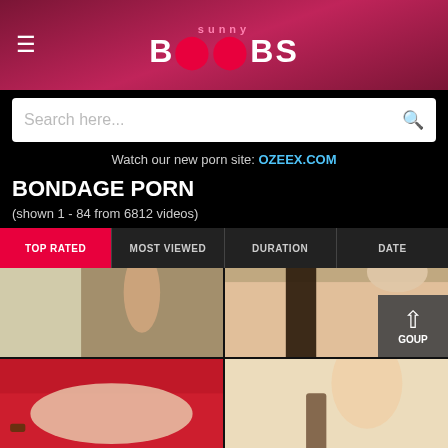Sunny Boobs
Search here...
Watch our new porn site: OZEEX.COM
BONDAGE PORN
(shown 1 - 84 from 6812 videos)
TOP RATED
MOST VIEWED
DURATION
DATE
[Figure (screenshot): Video thumbnail: woman with arms raised bound above, brick wall background]
[Figure (screenshot): Video thumbnail: close-up adult content with device]
[Figure (screenshot): Video thumbnail: person lying on red surface, bound]
[Figure (screenshot): Video thumbnail: blonde person, bathroom setting]